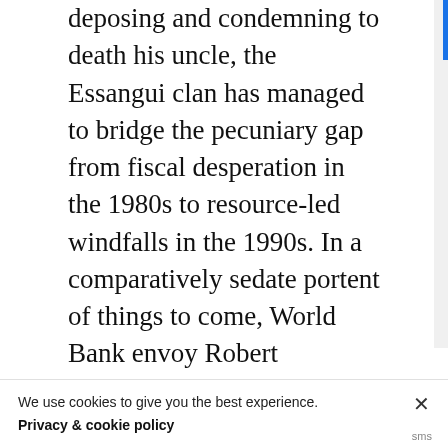deposing and condemning to death his uncle, the Essangui clan has managed to bridge the pecuniary gap from fiscal desperation in the 1980s to resource-led windfalls in the 1990s. In a comparatively sedate portent of things to come, World Bank envoy Robert Klitgaard felt compelled to publish his own accounts of the country's mismanagement and corruption in Tropical Gangsters (Basic Books, 1990), which one reviewer called a
We use cookies to give you the best experience.
Privacy & cookie policy